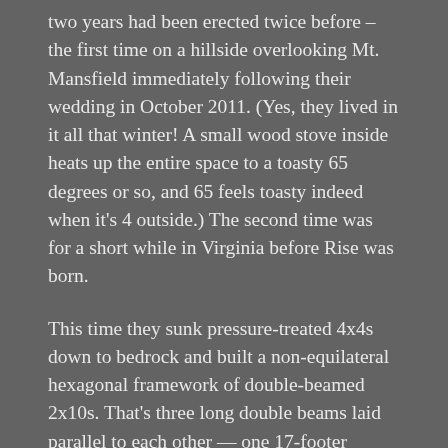two years had been erected twice before – the first time on a hillside overlooking Mt. Mansfield immediately following their wedding in October 2011. (Yes, they lived in it all that winter! A small wood stove inside heats up the entire space to a toasty 65 degrees or so, and 65 feels toasty indeed when it's 4 outside.) The second time was for a short while in Virginia before Rise was born.
This time they sunk pressure-treated 4x4s down to bedrock and built a non-equilateral hexagonal framework of double-beamed 2x10s. That's three long double beams laid parallel to each other — one 17-footer (about 5.2m) across the middle, one on each side of it about 8 feet away and four more that closed in the frame, like my imperfect sketch (you get the idea).